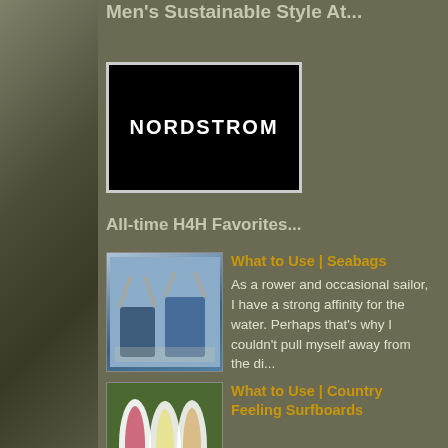Men's Sustainable Style At...
[Figure (logo): Nordstrom logo — white text on black background with light border]
All-time H4H Favorites...
[Figure (photo): Blue denim sea bags / tote bags photo]
What to Use | Seabags
As a rower and occasional sailor, I have a strong affinity for the water. Perhaps that's why I couldn't pull myself away from the di...
[Figure (photo): Colorful surfboards photo]
What to Use | Country Feeling Surfboards